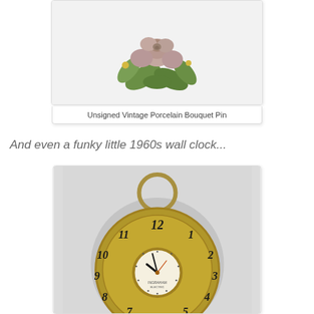[Figure (photo): Photo of a vintage porcelain flower bouquet pin/brooch with pink roses and green leaves on a white background.]
Unsigned Vintage Porcelain Bouquet Pin
And even a funky little 1960s wall clock...
[Figure (photo): Photo of a 1960s gold/brass round wall clock with decorative script numerals, a ring hanger at top, and a small round clock face in the center showing the time.]